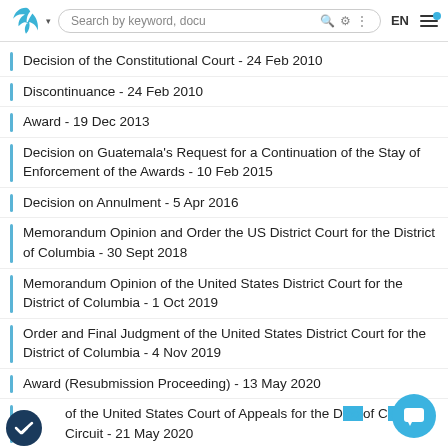Search by keyword, docu | EN
Decision of the Constitutional Court - 24 Feb 2010
Discontinuance - 24 Feb 2010
Award - 19 Dec 2013
Decision on Guatemala's Request for a Continuation of the Stay of Enforcement of the Awards - 10 Feb 2015
Decision on Annulment - 5 Apr 2016
Memorandum Opinion and Order the US District Court for the District of Columbia - 30 Sept 2018
Memorandum Opinion of the United States District Court for the District of Columbia - 1 Oct 2019
Order and Final Judgment of the United States District Court for the District of Columbia - 4 Nov 2019
Award (Resubmission Proceeding) - 13 May 2020
of the United States Court of Appeals for the D[…] of C[…]bia Circuit - 21 May 2020